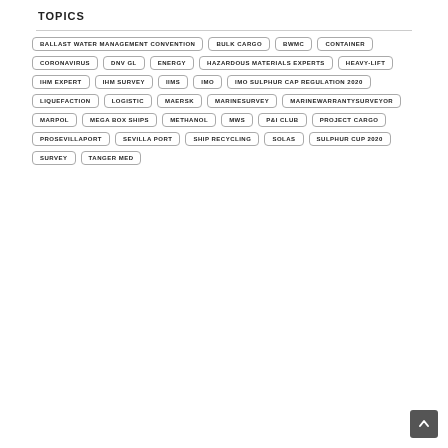TOPICS
BALLAST WATER MANAGEMENT CONVENTION
BULK CARGO
BWMC
CONTAINER
CORONAVIRUS
DNV GL
ENERGY
HAZARDOUS MATERIALS EXPERTS
HEAVY-LIFT
IHM EXPERT
IHM SURVEY
IIMS
IMO
IMO SULPHUR CAP REGULATION 2020
LIQUEFACTION
LOGISTIC
MAERSK
MARINESURVEY
MARINEWARRANTYSURVEYOR
MARPOL
MEGA BOX SHIPS
METHANOL
MWS
P&I CLUB
PROJECT CARGO
PROSEVILLAPORT
SEVILLA PORT
SHIP RECYCLING
SOLAS
SULPHUR CUP 2020
SURVEY
TANGER MED